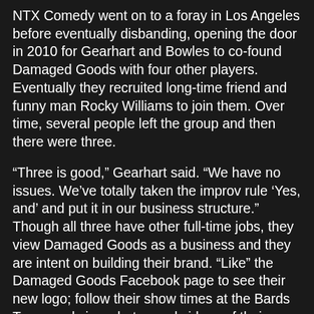NTX Comedy went on to a foray in Los Angeles before eventually disbanding, opening the door in 2010 for Gearhart and Bowles to co-found Damaged Goods with four other players. Eventually they recruited long-time friend and funny man Rocky Williams to join them. Over time, several people left the group and then there were three.
“Three is good,” Gearhart said. “We have no issues. We’ve totally taken the improv rule ‘Yes, and’ and put it in our business structure.” Though all three have other full-time jobs, they view Damaged Goods as a business and they are intent on building their brand. “Like” the Damaged Goods Facebook page to see their new logo; follow their show times at the Bards Town; and view photos and videos of their work, including the run at CIF. They founded the Dam Good Nation to establish their community and the Dam Good Network on YouTube to showcase new sketches. (Williams is a videographer and director.) They rehearse three times a week and organize workshops for themselves as part of their focus on professional development.
“We feel very proud of what we do,” Gearhart said. “It...